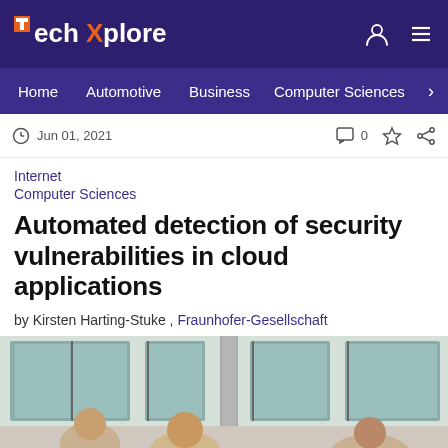TechXplore
Home | Automotive | Business | Computer Sciences
Jun 01, 2021
Internet
Computer Sciences
Automated detection of security vulnerabilities in cloud applications
by Kirsten Harting-Stuke , Fraunhofer-Gesellschaft
[Figure (photo): Group of people in a meeting room with large windows in the background]